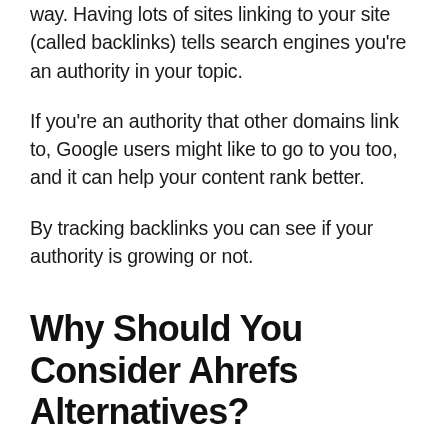way. Having lots of sites linking to your site (called backlinks) tells search engines you're an authority in your topic.
If you're an authority that other domains link to, Google users might like to go to you too, and it can help your content rank better.
By tracking backlinks you can see if your authority is growing or not.
Why Should You Consider Ahrefs Alternatives?
The number one reason to consider